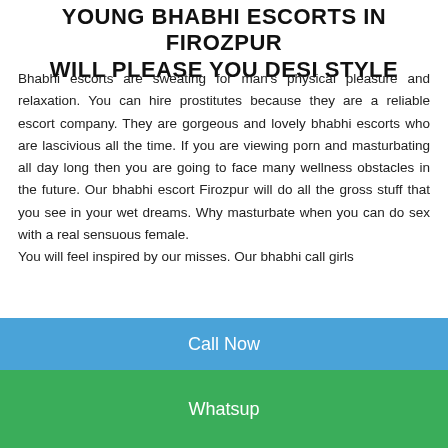YOUNG BHABHI ESCORTS IN Firozpur WILL PLEASE YOU DESI STYLE
Bhabhi escorts are sweating for man's physical pleasure and relaxation. You can hire prostitutes because they are a reliable escort company. They are gorgeous and lovely bhabhi escorts who are lascivious all the time. If you are viewing porn and masturbating all day long then you are going to face many wellness obstacles in the future. Our bhabhi escort Firozpur will do all the gross stuff that you see in your wet dreams. Why masturbate when you can do sex with a real sensuous female.
You will feel inspired by our misses. Our bhabhi call girls
Call Now
Whatsup